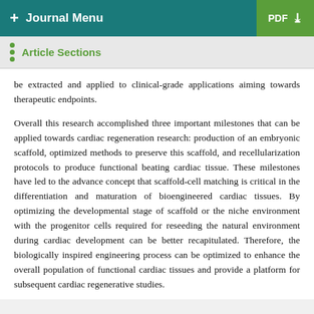+ Journal Menu  PDF ↓
Article Sections
be extracted and applied to clinical-grade applications aiming towards therapeutic endpoints.
Overall this research accomplished three important milestones that can be applied towards cardiac regeneration research: production of an embryonic scaffold, optimized methods to preserve this scaffold, and recellularization protocols to produce functional beating cardiac tissue. These milestones have led to the advance concept that scaffold-cell matching is critical in the differentiation and maturation of bioengineered cardiac tissues. By optimizing the developmental stage of scaffold or the niche environment with the progenitor cells required for reseeding the natural environment during cardiac development can be better recapitulated. Therefore, the biologically inspired engineering process can be optimized to enhance the overall population of functional cardiac tissues and provide a platform for subsequent cardiac regenerative studies.